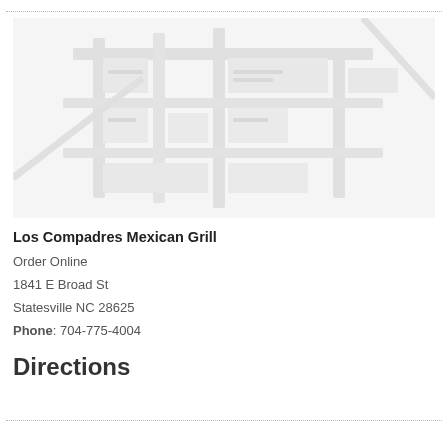[Figure (map): Faded map image showing street/area around Los Compadres Mexican Grill location]
Los Compadres Mexican Grill
Order Online
1841 E Broad St
Statesville NC 28625
Phone: 704-775-4004
Directions